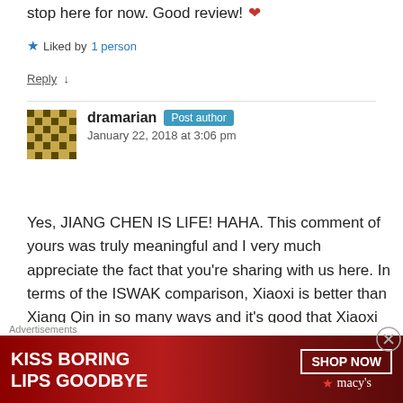stop here for now. Good review! ❤
★ Liked by 1 person
Reply ↓
dramarian  Post author
January 22, 2018 at 3:06 pm
Yes, JIANG CHEN IS LIFE! HAHA. This comment of yours was truly meaningful and I very much appreciate the fact that you're sharing with us here. In terms of the ISWAK comparison, Xiaoxi is better than Xiang Qin in so many ways and it's good that Xiaoxi became the modified version haha!
Advertisements
KISS BORING LIPS GOODBYE   SHOP NOW ★ macys